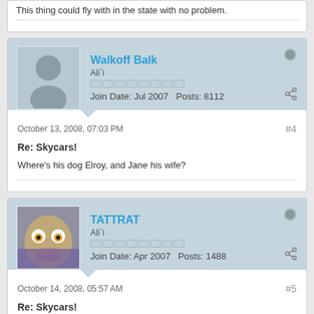This thing could fly with in the state with no problem.
Walkoff Balk
Ali`i
Join Date: Jul 2007   Posts: 8112
October 13, 2008, 07:03 PM
#4
Re: Skycars!
Where's his dog Elroy, and Jane his wife?
TATTRAT
Ali`i
Join Date: Apr 2007   Posts: 1488
October 14, 2008, 05:57 AM
#5
Re: Skycars!